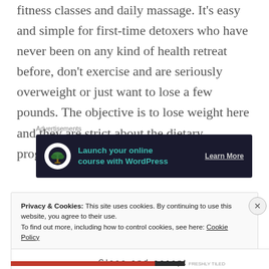fitness classes and daily massage. It's easy and simple for first-time detoxers who have never been on any kind of health retreat before, don't exercise and are seriously overweight or just want to lose a few pounds. The objective is to lose weight here and they are strict about the dietary program.
Advertisements
[Figure (infographic): Advertisement banner: dark navy background with circular white icon containing a bonsai tree, teal bold text 'Launch your online course with WordPress', and 'Learn More' link in light grey underlined text.]
Privacy & Cookies: This site uses cookies. By continuing to use this website, you agree to their use.
To find out more, including how to control cookies, see here: Cookie Policy
Close and accept